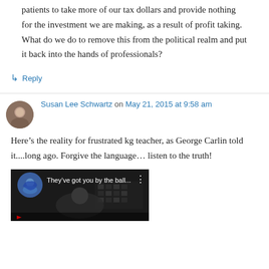patients to take more of our tax dollars and provide nothing for the investment we are making, as a result of profit taking. What do we do to remove this from the political realm and put it back into the hands of professionals?
↳ Reply
Susan Lee Schwartz on May 21, 2015 at 9:58 am
Here’s the reality for frustrated kg teacher, as George Carlin told it....long ago. Forgive the language… listen to the truth!
[Figure (screenshot): YouTube video thumbnail showing a dark background with a person visible, a blue circle avatar icon, text reading 'They've got you by the ball...' in white, and a three-dot menu icon. A red play button overlay is partially visible at the bottom.]